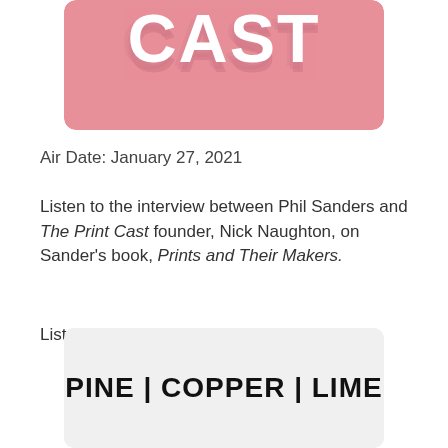[Figure (illustration): Pink/rose colored podcast logo image showing the word CAST in white bold letters with a shadow/echo effect on a pink background, rounded rectangle shape]
Air Date: January 27, 2021
Listen to the interview between Phil Sanders and The Print Cast founder, Nick Naughton, on Sander's book, Prints and Their Makers.
Listen to:    Part 1   &   Part 2
[Figure (logo): Light gray rounded rectangle containing bold black text: PINE | COPPER | LIME]